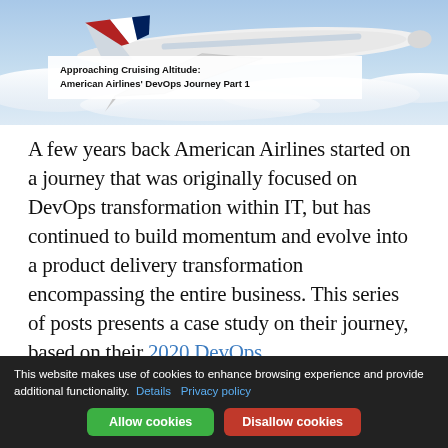[Figure (photo): American Airlines airplane in flight against a blue sky with clouds, showing the tail with red, white and blue design.]
Approaching Cruising Altitude: American Airlines' DevOps Journey Part 1
A few years back American Airlines started on a journey that was originally focused on DevOps transformation within IT, but has continued to build momentum and evolve into a product delivery transformation encompassing the entire business. This series of posts presents a case study on their journey, based on their 2020 DevOps
This website makes use of cookies to enhance browsing experience and provide additional functionality. Details Privacy policy Allow cookies Disallow cookies